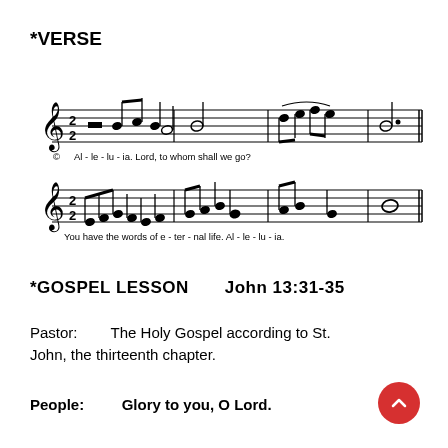*VERSE
[Figure (other): Musical score for an Alleluia verse. First staff: treble clef in 2/2 time, notes spelling 'Alleluia. Lord, to whom shall we go?' Second staff: treble clef, notes spelling 'You have the words of eternal life. Alleluia.' Text underlay shown below each staff.]
*GOSPEL LESSON    John 13:31-35
Pastor:        The Holy Gospel according to St. John, the thirteenth chapter.
People:        Glory to you, O Lord.